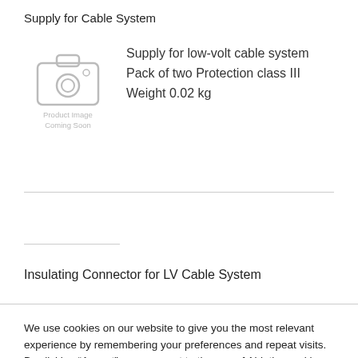Supply for Cable System
[Figure (photo): Placeholder product image with camera icon and text 'Product Image Coming Soon']
Supply for low-volt cable system
Pack of two Protection class III
Weight 0.02 kg
Insulating Connector for LV Cable System
We use cookies on our website to give you the most relevant experience by remembering your preferences and repeat visits. By clicking “Accept”, you consent to the use of ALL the cookies.
Cookie settings
ACCEPT